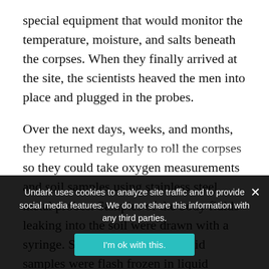special equipment that would monitor the temperature, moisture, and salts beneath the corpses. When they finally arrived at the site, the scientists heaved the men into place and plugged in the probes.
Over the next days, weeks, and months, they returned regularly to roll the corpses so they could take oxygen measurements and soil samples using stainless steel metal probes. Samples of the body fluids leaking into the soil were drawn with a syringe. Some of the soil and fluid samples were flash frozen in liquid nitrogen to preserve DNA and other biological material for.
Undark uses cookies to analyze site traffic and to provide social media features. We do not share this information with any third parties.
I'm ok with this.